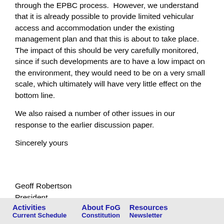through the EPBC process. However, we understand that it is already possible to provide limited vehicular access and accommodation under the existing management plan and that this is about to take place. The impact of this should be very carefully monitored, since if such developments are to have a low impact on the environment, they would need to be on a very small scale, which ultimately will have very little effect on the bottom line.
We also raised a number of other issues in our response to the earlier discussion paper.
Sincerely yours
Geoff Robertson
President
23 June 2010
Activities   About FoG   Resources
Current Schedule   Constitution   Newsletter